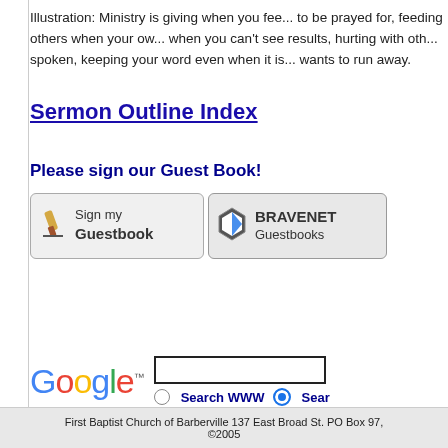Illustration: Ministry is giving when you fee... be prayed for, feeding others when your ow... when you can't see results, hurting with oth... spoken, keeping your word even when it is... wants to run away.
Sermon Outline Index
Please sign our Guest Book!
[Figure (screenshot): Sign my Guestbook button]
[Figure (screenshot): BRAVENET Guestbooks button]
[Figure (logo): Google logo with search input and Search WWW / Search radio buttons]
First Baptist Church of Barberville 137 East Broad St. PO Box 97,
©2005